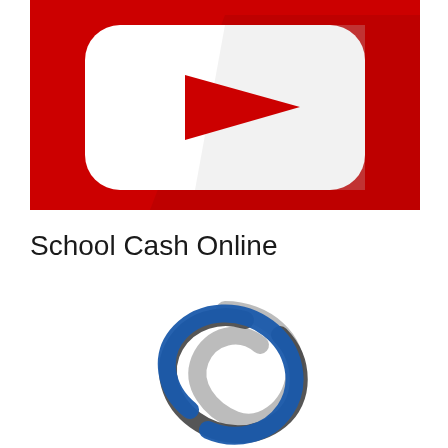[Figure (logo): YouTube logo: red background with white rounded-rectangle play button and red play triangle inside]
School Cash Online
[Figure (logo): School Cash Online logo: three interlocking circular arcs in blue, dark grey, and light grey]